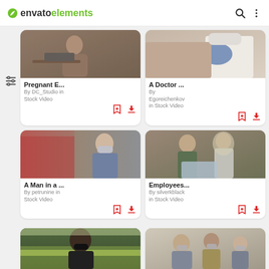envato elements
[Figure (screenshot): Screenshot of Envato Elements mobile app showing stock video search results with 4 video cards visible and 2 partial cards at bottom. Cards show: 'Pregnant E...' by DC_Studio in Stock Video, 'A Doctor ...' by Egoreichenkov in Stock Video, 'A Man in a ...' by petrunine in Stock Video, 'Employees...' by silverkblack in Stock Video]